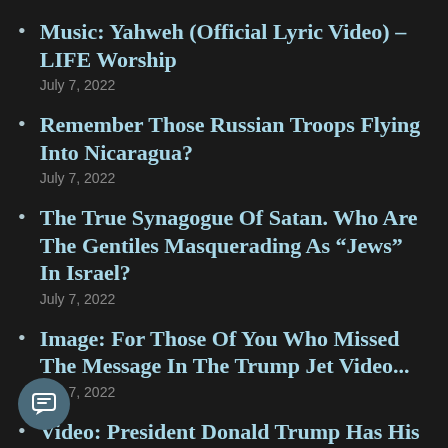Music: Yahweh (Official Lyric Video) – LIFE Worship
July 7, 2022
Remember Those Russian Troops Flying Into Nicaragua?
July 7, 2022
The True Synagogue Of Satan. Who Are The Gentiles Masquerading As “Jews” In Israel?
July 7, 2022
Image: For Those Of You Who Missed The Message In The Trump Jet Video...
July 7, 2022
Video: President Donald Trump Has His Private Jet Repainted. You Want To Watch Every Second Of This. Every Second. :)
July 6, 2022